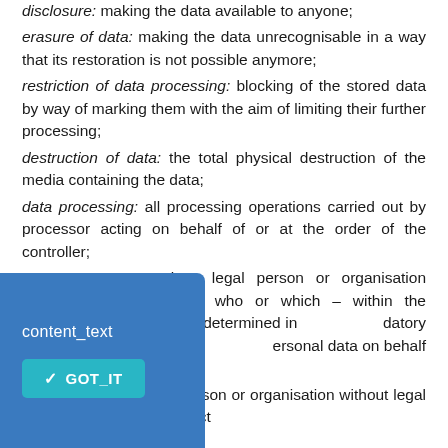disclosure: making the data available to anyone;
erasure of data: making the data unrecognisable in a way that its restoration is not possible anymore;
restriction of data processing: blocking of the stored data by way of marking them with the aim of limiting their further processing;
destruction of data: the total physical destruction of the media containing the data;
data processing: all processing operations carried out by processor acting on behalf of or at the order of the controller;
processor: a natural or legal person or organisation without legal personality who or which – within the conditions determined in mandatory legal act of the European personal data on behalf of or at roller;
or legal person or organisation without legal personality the data subject